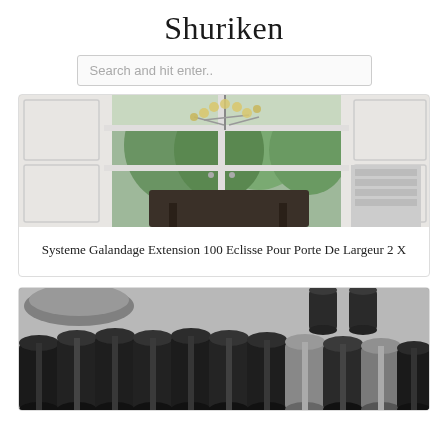Shuriken
Search and hit enter..
[Figure (photo): Interior room with white paneled walls, french doors opening to a garden, a dark dining table with a modern sculptural chandelier with globe lights]
Systeme Galandage Extension 100 Eclisse Pour Porte De Largeur 2 X
[Figure (photo): Close-up of multiple cylindrical metal tube connectors/sleeves in dark black and silver metallic finishes, lined up side by side]